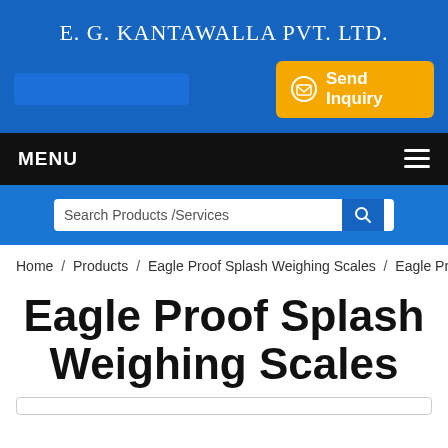E. G. KANTAWALLA PVT. LTD.
[Figure (screenshot): Send Inquiry button with envelope icon, gold/yellow background]
MENU
[Figure (screenshot): Search Products/Services input bar with search icon button]
Home / Products / Eagle Proof Splash Weighing Scales / Eagle Proof S
Eagle Proof Splash Weighing Scales